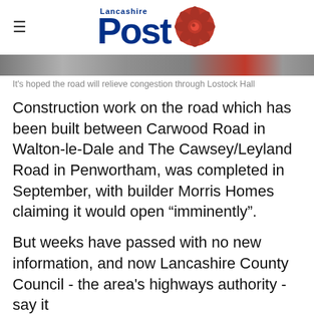Lancashire Post
[Figure (photo): A partial view of a road or construction site, showing a horizontal strip of road surface.]
It's hoped the road will relieve congestion through Lostock Hall
Construction work on the road which has been built between Carwood Road in Walton-le-Dale and The Cawsey/Leyland Road in Penwortham, was completed in September, with builder Morris Homes claiming it would open "imminently".
But weeks have passed with no new information, and now Lancashire County Council - the area's highways authority - say it